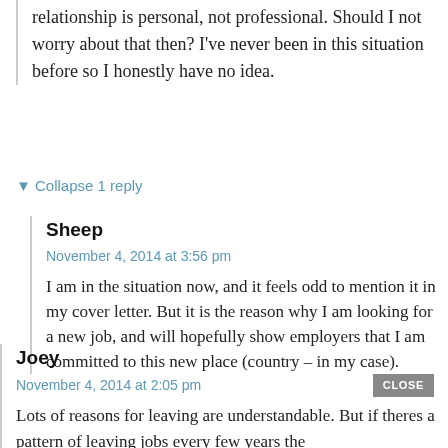relationship is personal, not professional. Should I not worry about that then? I've never been in this situation before so I honestly have no idea.
▼ Collapse 1 reply
Sheep
November 4, 2014 at 3:56 pm
I am in the situation now, and it feels odd to mention it in my cover letter. But it is the reason why I am looking for a new job, and will hopefully show employers that I am committed to this new place (country – in my case).
Joey
November 4, 2014 at 2:05 pm
CLOSE
Lots of reasons for leaving are understandable. But if theres a pattern of leaving jobs every few years the